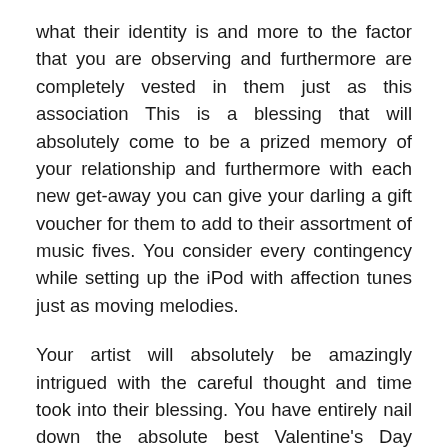what their identity is and more to the factor that you are observing and furthermore are completely vested in them just as this association This is a blessing that will absolutely come to be a prized memory of your relationship and furthermore with each new get-away you can give your darling a gift voucher for them to add to their assortment of music fives. You consider every contingency while setting up the iPod with affection tunes just as moving melodies.
Your artist will absolutely be amazingly intrigued with the careful thought and time took into their blessing. You have entirely nail down the absolute best Valentine's Day present for an artist ever. One thing should consistently be kept up as a main priority. One should introduce the online endowments to an individual that would unquestionably be reasonable for the relationship one savors the experience of with the individual. A blessing that would positively be